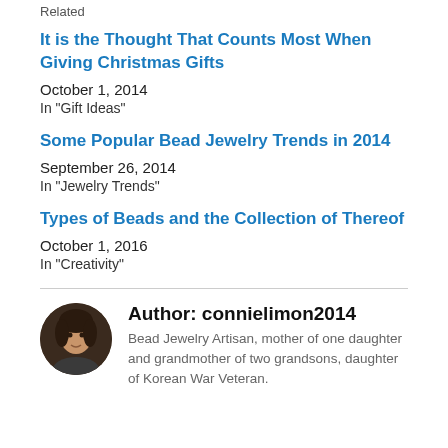Related
It is the Thought That Counts Most When Giving Christmas Gifts
October 1, 2014
In "Gift Ideas"
Some Popular Bead Jewelry Trends in 2014
September 26, 2014
In "Jewelry Trends"
Types of Beads and the Collection of Thereof
October 1, 2016
In "Creativity"
[Figure (photo): Circular avatar photo of author connielimon2014]
Author: connielimon2014
Bead Jewelry Artisan, mother of one daughter and grandmother of two grandsons, daughter of Korean War Veteran.